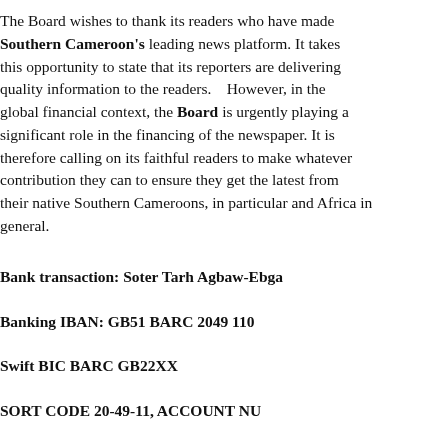The Board wishes to thank its readers wh... Southern Cameroon's leading news pla... this opportunity to state that its reporters quality information to the readers.    How... global financial context, the Board is urg... significant role in the financing of the ne... therefore calling on its faithful readers to contribution they can to ensure they get t... their native Southern Cameroons, in parti... general.
Bank transaction: Soter Tarh Agbaw-E...
Banking IBAN: GB51 BARC 2049 110...
Swift BIC BARC GB22XX
SORT CODE 20-49-11, ACCOUNT NU...